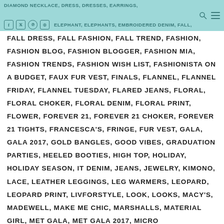DIAMOND NECKLACE, DRESS, DRESSES, EARRINGS, ELEPHANT, ELEPHANTS, EMBROIDERED DENIM, FALL,
FALL DRESS, FALL FASHION, FALL TREND, FASHION, FASHION BLOG, FASHION BLOGGER, FASHION MIA, FASHION TRENDS, FASHION WISH LIST, FASHIONISTA ON A BUDGET, FAUX FUR VEST, FINALS, FLANNEL, FLANNEL FRIDAY, FLANNEL TUESDAY, FLARED JEANS, FLORAL, FLORAL CHOKER, FLORAL DENIM, FLORAL PRINT, FLOWER, FOREVER 21, FOREVER 21 CHOKER, FOREVER 21 TIGHTS, FRANCESCA'S, FRINGE, FUR VEST, GALA, GALA 2017, GOLD BANGLES, GOOD VIBES, GRADUATION PARTIES, HEELED BOOTIES, HIGH TOP, HOLIDAY, HOLIDAY SEASON, IT DENIM, JEANS, JEWELRY, KIMONO, LACE, LEATHER LEGGINGS, LEG WARMERS, LEOPARD, LEOPARD PRINT, LIVFORSTYLE, LOOK, LOOKS, MACY'S, MADEWELL, MAKE ME CHIC, MARSHALLS, MATERIAL GIRL, MET GALA, MET GALA 2017, MICRO